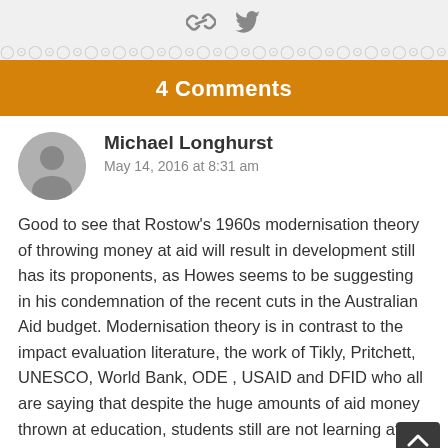[Figure (other): Social share icons: chain/link icon and Twitter bird icon]
4 Comments
Michael Longhurst
May 14, 2016 at 8:31 am
Good to see that Rostow’s 1960s modernisation theory of throwing money at aid will result in development still has its proponents, as Howes seems to be suggesting in his condemnation of the recent cuts in the Australian Aid budget. Modernisation theory is in contrast to the impact evaluation literature, the work of Tikly, Pritchett, UNESCO, World Bank, ODE , USAID and DFID who all are saying that despite the huge amounts of aid money thrown at education, students still are not learning after over 50 years of aid. Just to bring